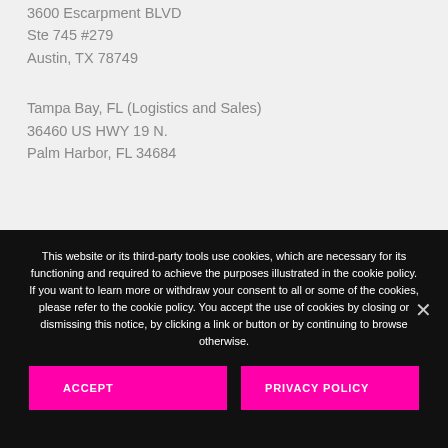3600 Escarpment BLVD
Ste 745 #279
Austin, TX 78749
Tampa Bay, FL (Logistics and Sales)
36460 US HWY 19 N.
Palm Harbor, FL 34684
This website or its third-party tools use cookies, which are necessary for its functioning and required to achieve the purposes illustrated in the cookie policy. If you want to learn more or withdraw your consent to all or some of the cookies, please refer to the cookie policy. You accept the use of cookies by closing or dismissing this notice, by clicking a link or button or by continuing to browse otherwise.
ACCEPT
PRIVACY POLICY